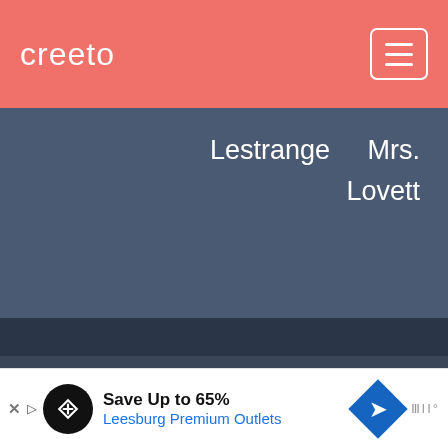creeto
Lestrange   Mrs. Lovett
Helena Bonham Carter Girlfriend, Wife
Marital Status: Unmarried.
Children: She was in a relationship with Tim Burton from 2001 to 2014. In 2003, she gave birth to a son, Billy Raymond Burton. They welcomed a daughter,
[Figure (other): Advertisement banner: Save Up to 65% Leesburg Premium Outlets with logo and navigation arrow]